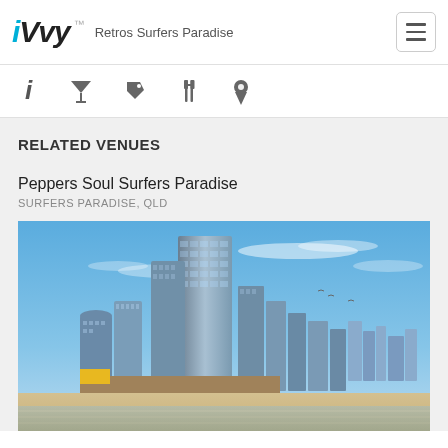iVvy | Retros Surfers Paradise
RELATED VENUES
Peppers Soul Surfers Paradise
SURFERS PARADISE, QLD
[Figure (photo): Skyline photo of Surfers Paradise, QLD, showing tall modern skyscrapers including a prominent glass tower in the center, beach and ocean in the foreground, blue sky with light clouds in background.]